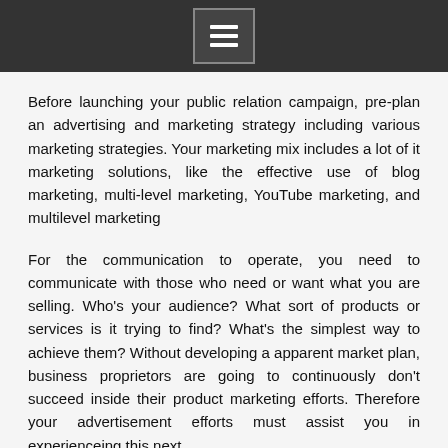[menu icon]
Before launching your public relation campaign, pre-plan an advertising and marketing strategy including various marketing strategies. Your marketing mix includes a lot of it marketing solutions, like the effective use of blog marketing, multi-level marketing, YouTube marketing, and multilevel marketing
For the communication to operate, you need to communicate with those who need or want what you are selling. Who’s your audience? What sort of products or services is it trying to find? What’s the simplest way to achieve them? Without developing a apparent market plan, business proprietors are going to continuously don’t succeed inside their product marketing efforts. Therefore your advertisement efforts must assist you in experienceing this next